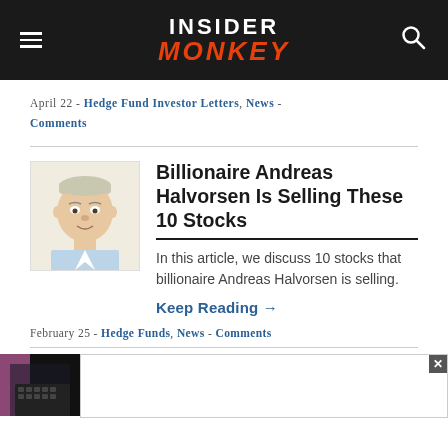INSIDER MONKEY
April 22 - Hedge Fund Investor Letters, News - Comments
Billionaire Andreas Halvorsen Is Selling These 10 Stocks
In this article, we discuss 10 stocks that billionaire Andreas Halvorsen is selling.
Keep Reading →
February 25 - Hedge Funds, News - Comments
[Figure (illustration): Caricature illustration of Andreas Halvorsen]
[Figure (photo): Partial photo of a person, advertisement area with close button]